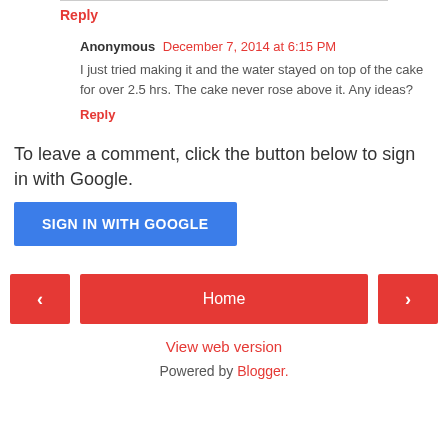Reply
Anonymous  December 7, 2014 at 6:15 PM
I just tried making it and the water stayed on top of the cake for over 2.5 hrs. The cake never rose above it. Any ideas?
Reply
To leave a comment, click the button below to sign in with Google.
SIGN IN WITH GOOGLE
‹
Home
›
View web version
Powered by Blogger.